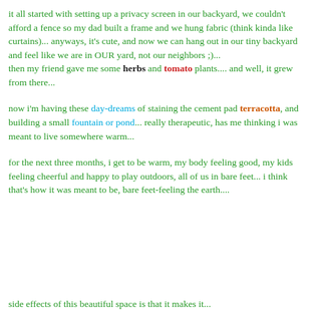it all started with setting up a privacy screen in our backyard, we couldn't afford a fence so my dad built a frame and we hung fabric (think kinda like curtains)... anyways, it's cute, and now we can hang out in our tiny backyard and feel like we are in OUR yard, not our neighbors ;)...
then my friend gave me some herbs and tomato plants.... and well, it grew from there...
now i'm having these day-dreams of staining the cement pad terracotta, and building a small fountain or pond... really therapeutic, has me thinking i was meant to live somewhere warm...
for the next three months, i get to be warm, my body feeling good, my kids feeling cheerful and happy to play outdoors, all of us in bare feet... i think that's how it was meant to be, bare feet-feeling the earth....
side effects of this beautiful space is that it makes it...